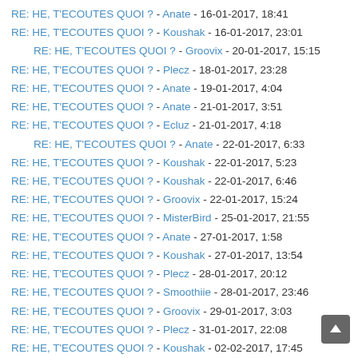RE: HE, T'ECOUTES QUOI ? - Anate - 16-01-2017, 18:41
RE: HE, T'ECOUTES QUOI ? - Koushak - 16-01-2017, 23:01
RE: HE, T'ECOUTES QUOI ? - Groovix - 20-01-2017, 15:15
RE: HE, T'ECOUTES QUOI ? - Plecz - 18-01-2017, 23:28
RE: HE, T'ECOUTES QUOI ? - Anate - 19-01-2017, 4:04
RE: HE, T'ECOUTES QUOI ? - Anate - 21-01-2017, 3:51
RE: HE, T'ECOUTES QUOI ? - Ecluz - 21-01-2017, 4:18
RE: HE, T'ECOUTES QUOI ? - Anate - 22-01-2017, 6:33
RE: HE, T'ECOUTES QUOI ? - Koushak - 22-01-2017, 5:23
RE: HE, T'ECOUTES QUOI ? - Koushak - 22-01-2017, 6:46
RE: HE, T'ECOUTES QUOI ? - Groovix - 22-01-2017, 15:24
RE: HE, T'ECOUTES QUOI ? - MisterBird - 25-01-2017, 21:55
RE: HE, T'ECOUTES QUOI ? - Anate - 27-01-2017, 1:58
RE: HE, T'ECOUTES QUOI ? - Koushak - 27-01-2017, 13:54
RE: HE, T'ECOUTES QUOI ? - Plecz - 28-01-2017, 20:12
RE: HE, T'ECOUTES QUOI ? - Smoothiie - 28-01-2017, 23:46
RE: HE, T'ECOUTES QUOI ? - Groovix - 29-01-2017, 3:03
RE: HE, T'ECOUTES QUOI ? - Plecz - 31-01-2017, 22:08
RE: HE, T'ECOUTES QUOI ? - Koushak - 02-02-2017, 17:45
RE: HE, T'ECOUTES QUOI ? - Plecz - 04-02-2017, 4:37
RE: HE, T'ECOUTES QUOI ? - Groovix - 05-02-2017, 3:45
RE: HE, T'ECOUTES QUOI ? - Plecz - 07-02-2017, 0:17